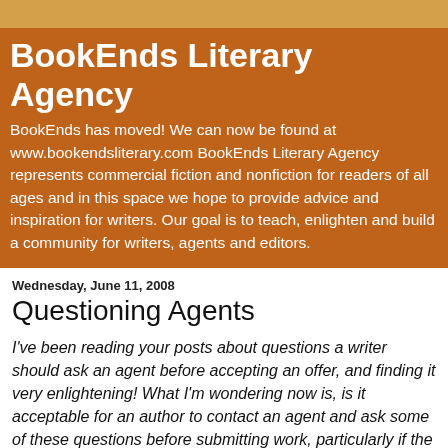BookEnds Literary Agency
BookEnds has moved! We can now be found at www.bookendsliterary.com BookEnds Literary Agency represents commercial fiction and nonfiction for readers of all ages and in this space we hope to provide advice and inspiration for writers. Our goal is to teach, enlighten and build a community for writers, agents and editors.
Wednesday, June 11, 2008
Questioning Agents
I've been reading your posts about questions a writer should ask an agent before accepting an offer, and finding it very enlightening! What I'm wondering now is, is it acceptable for an author to contact an agent and ask some of these questions before submitting work, particularly if the agency is new? I've been to the agency's webpage and they seem 'on the level' near as I can tell, but since they don't represent